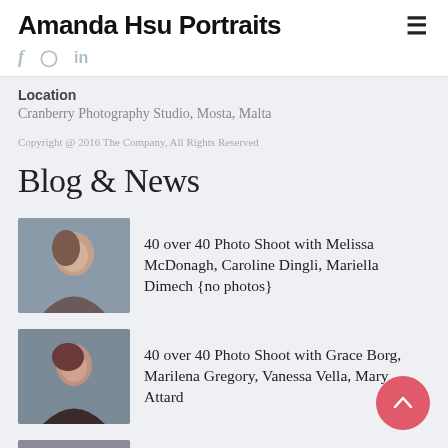Amanda Hsu Portraits
Location
Cranberry Photography Studio, Mosta, Malta
Copyright @ 2016 The Company, All Rights Reserved
Blog & News
40 over 40 Photo Shoot with Melissa McDonagh, Caroline Dingli, Mariella Dimech {no photos}
40 over 40 Photo Shoot with Grace Borg, Marilena Gregory, Vanessa Vella, Mary Attard
40 over 40 Photo Shoot with Daniela Cauchi, Marilou Filasol, Eve Grixti